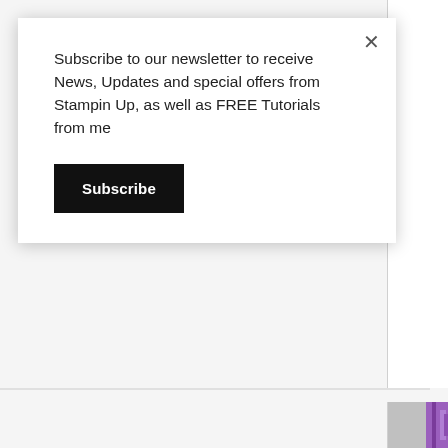Subscribe to our newsletter to receive News, Updates and special offers from Stampin Up, as well as FREE Tutorials from me
Subscribe
[Figure (photo): Partial view of a craft/stamping product image on the right side, showing purple coloring, cropped at the edge]